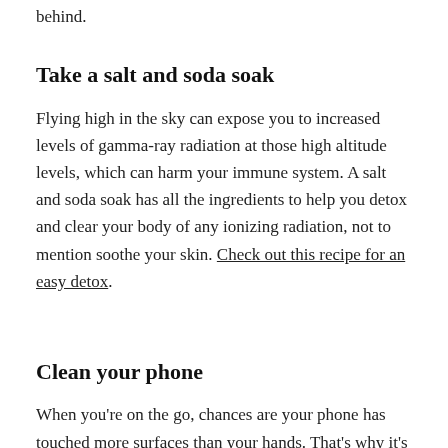behind.
Take a salt and soda soak
Flying high in the sky can expose you to increased levels of gamma-ray radiation at those high altitude levels, which can harm your immune system. A salt and soda soak has all the ingredients to help you detox and clear your body of any ionizing radiation, not to mention soothe your skin. Check out this recipe for an easy detox.
Clean your phone
When you're on the go, chances are your phone has touched more surfaces than your hands. That's why it's just as important to wash your phone as it is your hands.